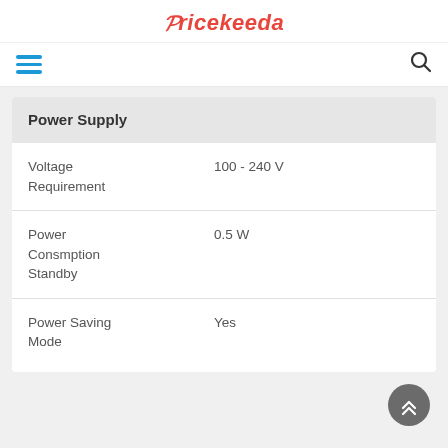Pricekeeda
| Power Supply |  |
| --- | --- |
| Voltage Requirement | 100 - 240 V |
| Power Consmption Standby | 0.5 W |
| Power Saving Mode | Yes |